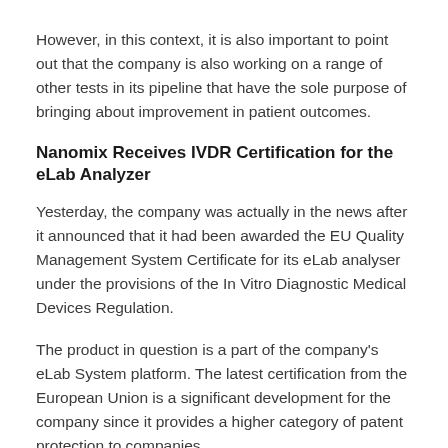However, in this context, it is also important to point out that the company is also working on a range of other tests in its pipeline that have the sole purpose of bringing about improvement in patient outcomes.
Nanomix Receives IVDR Certification for the eLab Analyzer
Yesterday, the company was actually in the news after it announced that it had been awarded the EU Quality Management System Certificate for its eLab analyser under the provisions of the In Vitro Diagnostic Medical Devices Regulation.
The product in question is a part of the company's eLab System platform. The latest certification from the European Union is a significant development for the company since it provides a higher category of patent protection to companies.
David Ludvigson, who is the President and Chief Executive